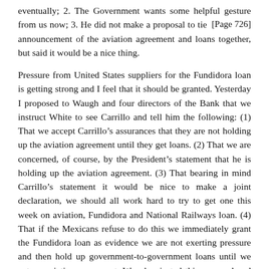eventually; 2. The Government wants some helpful gesture from us now; 3. He did not make a proposal to tie [Page 726] announcement of the aviation agreement and loans together, but said it would be a nice thing.
Pressure from United States suppliers for the Fundidora loan is getting strong and I feel that it should be granted. Yesterday I proposed to Waugh and four directors of the Bank that we instruct White to see Carrillo and tell him the following: (1) That we accept Carrillo’s assurances that they are not holding up the aviation agreement until they get loans. (2) That we are concerned, of course, by the President’s statement that he is holding up the aviation agreement. (3) That bearing in mind Carrillo’s statement it would be nice to make a joint declaration, we should all work hard to try to get one this week on aviation, Fundidora and National Railways loan. (4) That if the Mexicans refuse to do this we immediately grant the Fundidora loan as evidence we are not exerting pressure and then hold up government-to-government loans until we get an aviation agreement. Waugh rejected this proposal and said he would not agree to any move until he had seen you.